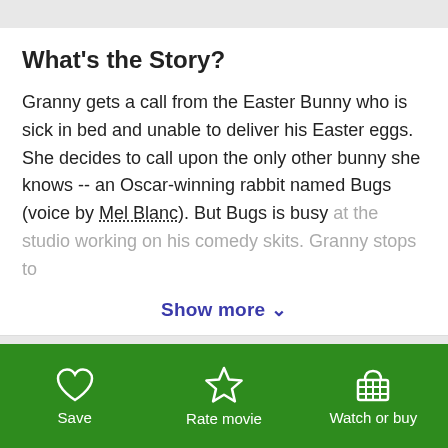What's the Story?
Granny gets a call from the Easter Bunny who is sick in bed and unable to deliver his Easter eggs. She decides to call upon the only other bunny she knows -- an Oscar-winning rabbit named Bugs (voice by Mel Blanc). But Bugs is busy at the studio working on his comedy skits. Granny stops to
Show more
Is It Any Good?
Save  Rate movie  Watch or buy